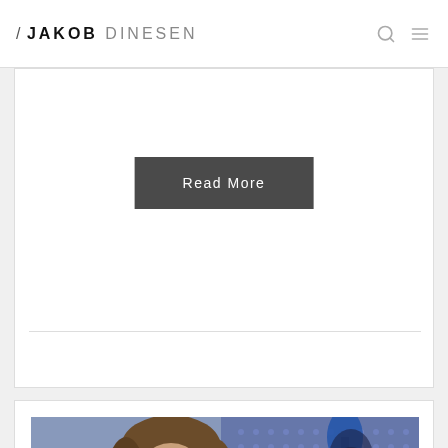/ JAKOB DINESEN
Read More
[Figure (photo): Photo of a smiling man with wavy brown hair wearing a dark jacket, with a vintage-style microphone visible in the background against a blue dotted backdrop.]
Interview from DK4 – Live from Studio 55